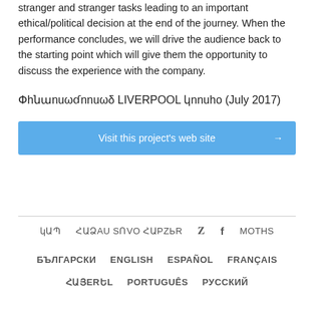stranger and stranger tasks leading to an important ethical/political decision at the end of the journey. When the performance concludes, we will drive the audience back to the starting point which will give them the opportunity to discuss the experience with the company.
Փhնաnuωdnnuωδ LIVERPOOL կnnuho (July 2017)
Visit this project's web site →
կԱՊ  ՀԱՁAU SՈVO ՀԱPZЬR  🐦  f  MOTHS
БЪЛГАРСКИ  ENGLISH  ESPAÑOL  FRANÇAIS  ՀԱՅERԵL  PORTUGUÊS  РУССКИЙ